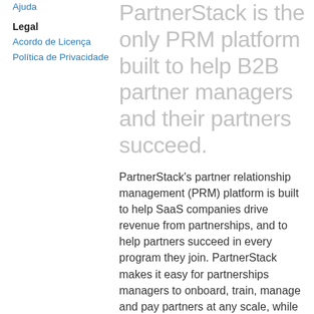Ajuda
Legal
Acordo de Licença
Política de Privacidade
PartnerStack is the only PRM platform built to help B2B partner managers and their partners succeed.
PartnerStack's partner relationship management (PRM) platform is built to help SaaS companies drive revenue from partnerships, and to help partners succeed in every program they join. PartnerStack makes it easy for partnerships managers to onboard, train, manage and pay partners at any scale, while providing partners with their own dedicated dashboard with access to resources, withdrawals, messaging and